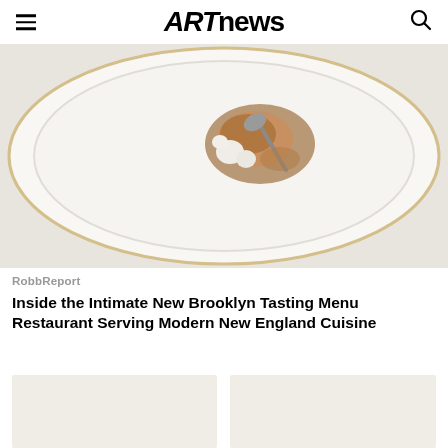ARTnews
[Figure (photo): Top-down view of a white decorative plate with gold rim edge, containing food items including what appears to be poultry or meat with garnishes in a brown sauce, with a silver spoon on the plate. Light grey/white background.]
RobbReport
Inside the Intimate New Brooklyn Tasting Menu Restaurant Serving Modern New England Cuisine
[Figure (photo): Partially visible image, appears light/neutral colored]
[Figure (photo): Partially visible image, appears light/neutral colored]